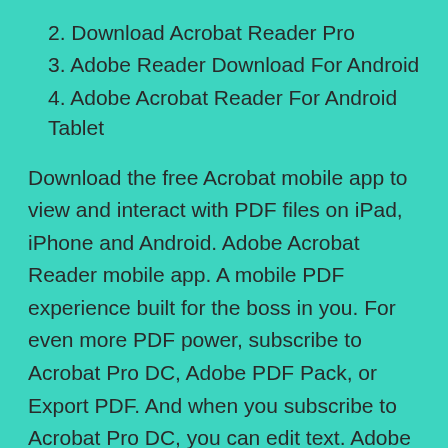2. Download Acrobat Reader Pro
3. Adobe Reader Download For Android
4. Adobe Acrobat Reader For Android Tablet
Download the free Acrobat mobile app to view and interact with PDF files on iPad, iPhone and Android. Adobe Acrobat Reader mobile app. A mobile PDF experience built for the boss in you. For even more PDF power, subscribe to Acrobat Pro DC, Adobe PDF Pack, or Export PDF. And when you subscribe to Acrobat Pro DC, you can edit text. Adobe Reader is a free PDF reader that allows you to open your PDF-formatted files. It is popular amongst almost all the office folks. Being one of the first PDF readers and pioneers in this field. It can be described as one of the best and most user-friendly PDF viewing apps. Adobe PDF viewer forRead More.